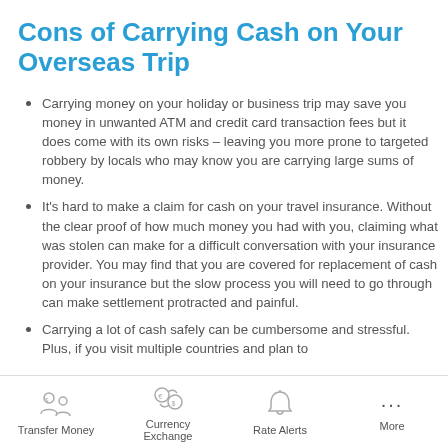Cons of Carrying Cash on Your Overseas Trip
Carrying money on your holiday or business trip may save you money in unwanted ATM and credit card transaction fees but it does come with its own risks – leaving you more prone to targeted robbery by locals who may know you are carrying large sums of money.
It's hard to make a claim for cash on your travel insurance. Without the clear proof of how much money you had with you, claiming what was stolen can make for a difficult conversation with your insurance provider. You may find that you are covered for replacement of cash on your insurance but the slow process you will need to go through can make settlement protracted and painful.
Carrying a lot of cash safely can be cumbersome and stressful. Plus, if you visit multiple countries and plan to
Transfer Money   Currency Exchange   Rate Alerts   More